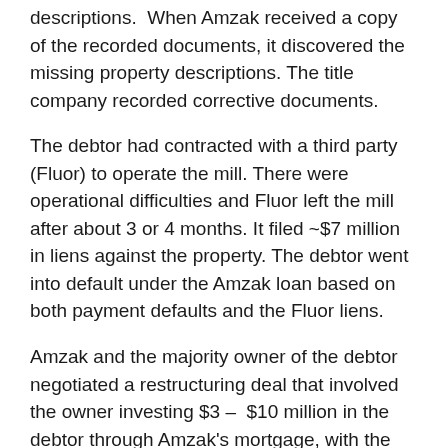descriptions. When Amzak received a copy of the recorded documents, it discovered the missing property descriptions. The title company recorded corrective documents.
The debtor had contracted with a third party (Fluor) to operate the mill. There were operational difficulties and Fluor left the mill after about 3 or 4 months. It filed ~$7 million in liens against the property. The debtor went into default under the Amzak loan based on both payment defaults and the Fluor liens.
Amzak and the majority owner of the debtor negotiated a restructuring deal that involved the owner investing $3 – $10 million in the debtor through Amzak's mortgage, with the owner's interest in the Amzak mortgage coming behind Amzak. (The objective was to use the mortgage so that the